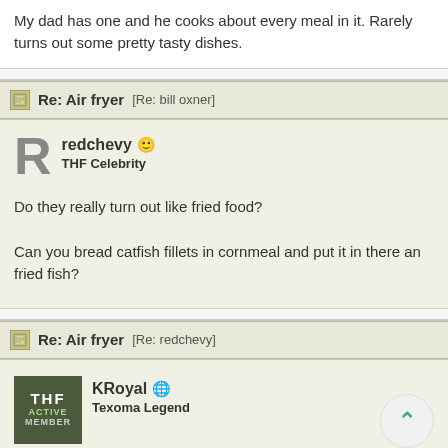My dad has one and he cooks about every meal in it. Rarely turns out some pretty tasty dishes.
Re: Air fryer [Re: bill oxner]
redchevy
THF Celebrity
Do they really turn out like fried food?

Can you bread catfish fillets in cornmeal and put it in there and get fried fish?
Re: Air fryer [Re: redchevy]
KRoyal
Texoma Legend